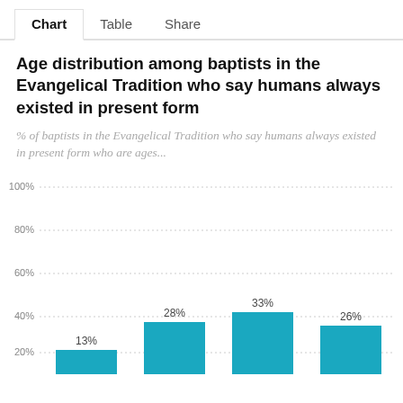Chart  Table  Share
Age distribution among baptists in the Evangelical Tradition who say humans always existed in present form
% of baptists in the Evangelical Tradition who say humans always existed in present form who are ages...
[Figure (bar-chart): Age distribution among baptists in the Evangelical Tradition who say humans always existed in present form]